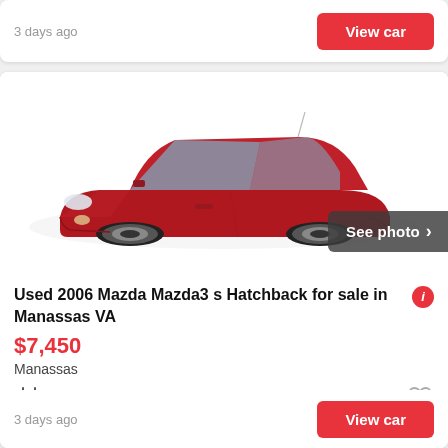3 days ago
View car
[Figure (photo): Red 2006 Mazda Mazda3 s Hatchback side/front three-quarter view on white background, with 'See photo >' overlay button in bottom right]
Used 2006 Mazda Mazda3 s Hatchback for sale in Manassas VA
$7,450
Manassas
2006
3 days ago
View car